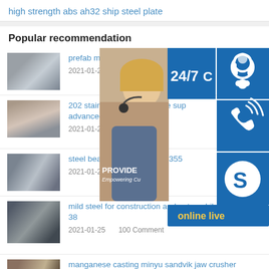high strength abs ah32 ship steel plate
Popular recommendation
prefab metal portable structural s
2021-01-25    100 Comment
202 stainless steel wire rope sup advanced
2021-01-25    100 Comment
steel beams standard size s355
2021-01-25    100 Comment
[Figure (infographic): Customer service widget showing 24/7 availability, headset icon, phone icon, Skype icon, PROVIDE Empowering Cu... text, online live button, and customer service representative photo]
mild steel for construction and automobile industry rs 38
2021-01-25    100 Comment
manganese casting minyu sandvik jaw crusher